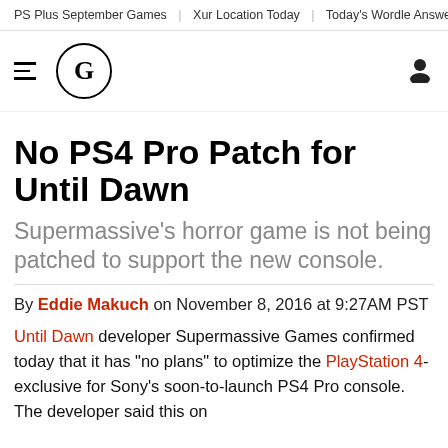PS Plus September Games | Xur Location Today | Today's Wordle Answer (440) | King's F
[Figure (logo): Hamburger menu icon and circular G logo for GameSpot, with user account icon on the right]
No PS4 Pro Patch for Until Dawn
Supermassive's horror game is not being patched to support the new console.
By Eddie Makuch on November 8, 2016 at 9:27AM PST
Until Dawn developer Supermassive Games confirmed today that it has "no plans" to optimize the PlayStation 4-exclusive for Sony's soon-to-launch PS4 Pro console. The developer said this on